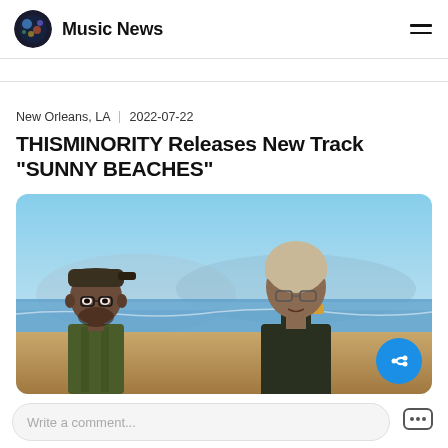Music News
New Orleans, LA  |  2022-07-22
THISMINORITY Releases New Track "SUNNY BEACHES"
[Figure (photo): Two men standing on a beach. The man on the left wears a backwards cap, glasses, and a patterned jacket. The man on the right wears a light beige head covering, glasses, and a dark jacket, with his fist raised to his mouth.]
Write a comment...